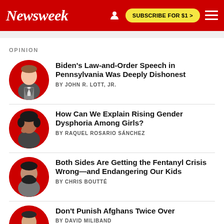Newsweek | SUBSCRIBE FOR $1 >
OPINION
Biden's Law-and-Order Speech in Pennsylvania Was Deeply Dishonest | BY JOHN R. LOTT, JR.
How Can We Explain Rising Gender Dysphoria Among Girls? | BY RAQUEL ROSARIO SÁNCHEZ
Both Sides Are Getting the Fentanyl Crisis Wrong—and Endangering Our Kids | BY CHRIS BOUTTÉ
Don't Punish Afghans Twice Over | BY DAVID MILIBAND